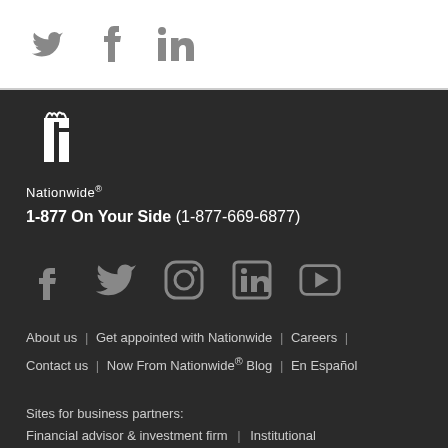[Figure (logo): Social media icons (Twitter, Facebook, LinkedIn) in gray on white background]
[Figure (logo): Nationwide insurance logo - white NJ building icon with 'Nationwide' text below]
1-877 On Your Side (1-877-669-6877)
[Figure (logo): Social media icons row: Facebook, Twitter, Instagram, LinkedIn, YouTube - gray on dark background]
About us | Get appointed with Nationwide | Careers | Contact us | Now From Nationwide® Blog | En Español
Sites for business partners:
Financial advisor & investment firm | Institutional